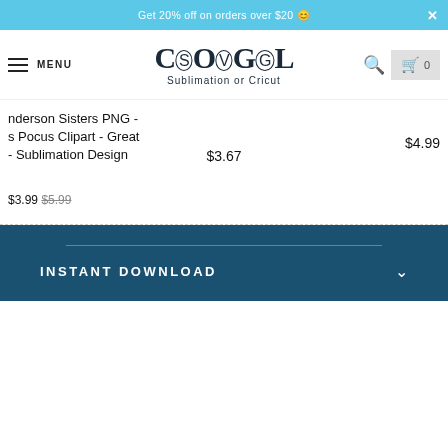Get 20% off on orders over $20
[Figure (logo): Cool SVG logo with text 'Cool SVG' and subtitle 'Sublimation or Cricut']
nderson Sisters PNG - s Pocus Clipart - Great - Sublimation Design
$3.67
$4.99
$3.99 $5.99
INSTANT DOWNLOAD